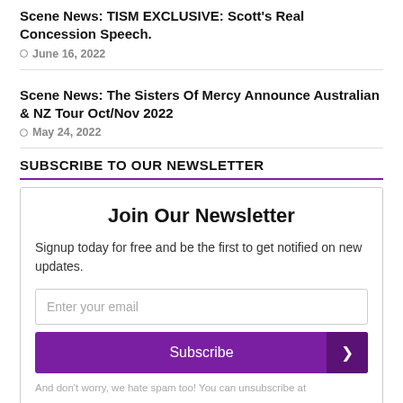Scene News: TISM EXCLUSIVE: Scott's Real Concession Speech.
June 16, 2022
Scene News: The Sisters Of Mercy Announce Australian & NZ Tour Oct/Nov 2022
May 24, 2022
SUBSCRIBE TO OUR NEWSLETTER
Join Our Newsletter
Signup today for free and be the first to get notified on new updates.
Enter your email
Subscribe
And don't worry, we hate spam too! You can unsubscribe at